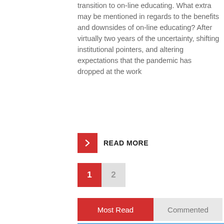transition to on-line educating. What extra may be mentioned in regards to the benefits and downsides of on-line educating? After virtually two years of the uncertainty, shifting institutional pointers, and altering expectations that the pandemic has dropped at the work
READ MORE
1  2
Most Read  Commented
[Figure (photo): Landscape photo showing palm trees in the foreground, mountains in the background, and a blue sky with clouds]